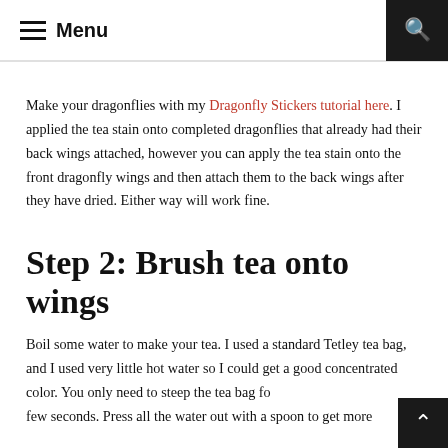Menu
Make your dragonflies with my Dragonfly Stickers tutorial here. I applied the tea stain onto completed dragonflies that already had their back wings attached, however you can apply the tea stain onto the front dragonfly wings and then attach them to the back wings after they have dried. Either way will work fine.
Step 2: Brush tea onto wings
Boil some water to make your tea. I used a standard Tetley tea bag, and I used very little hot water so I could get a good concentrated color. You only need to steep the tea bag fo few seconds. Press all the water out with a spoon to get more